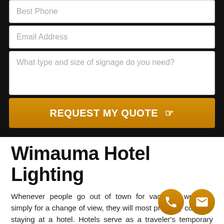[Figure (screenshot): Web form section with dark background containing input fields for Best Phone, Email Address, and a textarea for signage type/size, plus a gold REQUEST MY QUOTE button]
Wimauma Hotel Lighting
Whenever people go out of town for vacation, work, or simply for a change of view, they will most probably consider staying at a hotel. Hotels serve as a traveler's temporary home while away from home, allowing them to rest after a long day of moving around a place or doing work.
It is